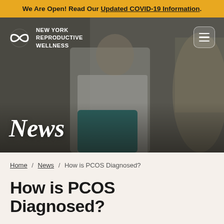We Are Open! Read Our Updated COVID-19 Information.
[Figure (photo): Hero image of a doctor in a white lab coat reviewing a teal folder with a patient, with the 'New York Reproductive Wellness' logo top-left and a hamburger menu top-right. Large italic 'News' text overlaid bottom-left.]
Home / News / How is PCOS Diagnosed?
How is PCOS Diagnosed?